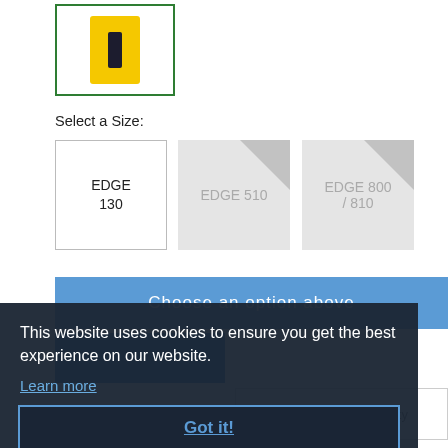[Figure (photo): Product image of a yellow device (EDGE 130) in a green-bordered selection box]
Select a Size:
EDGE 130 (selected)
EDGE 510 (unavailable)
EDGE 800 / 810 (unavailable)
Choose an option above
This website uses cookies to ensure you get the best experience on our website.
Learn more
Got it!
Check store availability
Description